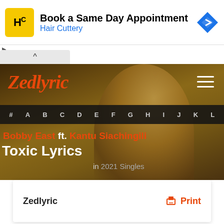[Figure (screenshot): Advertisement banner for Hair Cuttery with logo, text 'Book a Same Day Appointment', 'Hair Cuttery', and a blue navigation arrow icon]
Book a Same Day Appointment
Hair Cuttery
[Figure (screenshot): Zedlyric website hero section with artist photo background, Zedlyric logo, hamburger menu, alphabet navigation bar, artist name 'Bobby East ft. Kantu Siachingili', song title 'Toxic Lyrics', category 'in 2021 Singles']
Zedlyric
Bobby East ft. Kantu Siachingili
Toxic Lyrics
in 2021 Singles
Zedlyric    Print